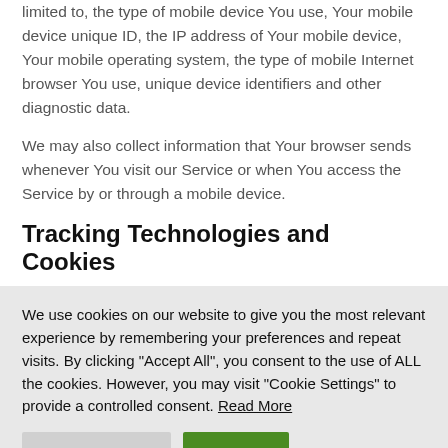limited to, the type of mobile device You use, Your mobile device unique ID, the IP address of Your mobile device, Your mobile operating system, the type of mobile Internet browser You use, unique device identifiers and other diagnostic data.
We may also collect information that Your browser sends whenever You visit our Service or when You access the Service by or through a mobile device.
Tracking Technologies and Cookies
We use cookies on our website to give you the most relevant experience by remembering your preferences and repeat visits. By clicking "Accept All", you consent to the use of ALL the cookies. However, you may visit "Cookie Settings" to provide a controlled consent. Read More